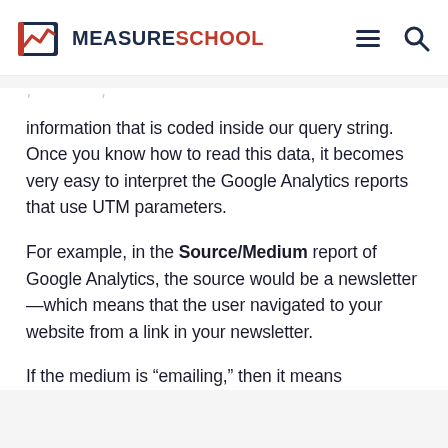MEASURESCHOOL
information that is coded inside our query string. Once you know how to read this data, it becomes very easy to interpret the Google Analytics reports that use UTM parameters.
For example, in the Source/Medium report of Google Analytics, the source would be a newsletter—which means that the user navigated to your website from a link in your newsletter.
If the medium is “emailing,” then it means